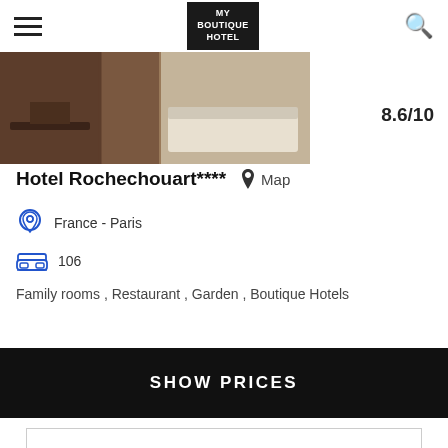MY BOUTIQUE HOTEL
[Figure (photo): Hotel room interior photo showing desk and bed with brown/beige tones]
8.6/10
Hotel Rochechouart****   Map
France - Paris
106
Family rooms , Restaurant , Garden , Boutique Hotels
SHOW PRICES
Superb
8.8/10